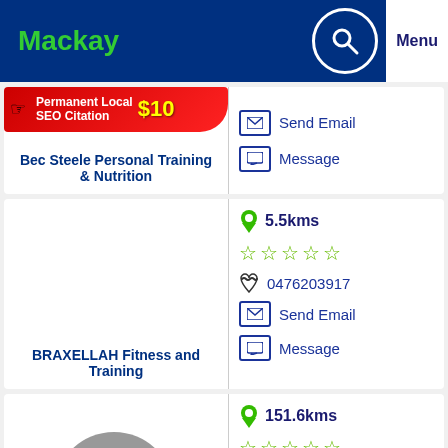Mackay
[Figure (infographic): Permanent Local SEO Citation $10 advertisement banner in red with hand pointer icon]
Bec Steele Personal Training & Nutrition
Send Email
Message
5.5kms
0476203917
Send Email
Message
BRAXELLAH Fitness and Training
151.6kms
0424691699
Send Email